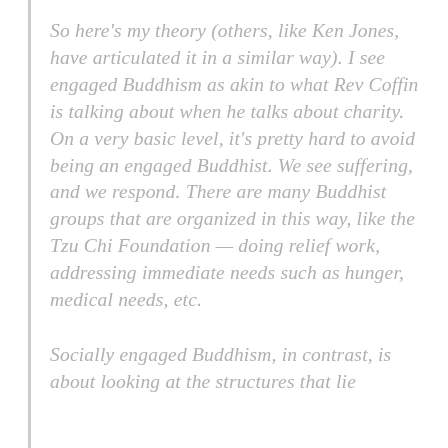So here's my theory (others, like Ken Jones, have articulated it in a similar way). I see engaged Buddhism as akin to what Rev Coffin is talking about when he talks about charity. On a very basic level, it's pretty hard to avoid being an engaged Buddhist. We see suffering, and we respond. There are many Buddhist groups that are organized in this way, like the Tzu Chi Foundation — doing relief work, addressing immediate needs such as hunger, medical needs, etc.
Socially engaged Buddhism, in contrast, is about looking at the structures that lie